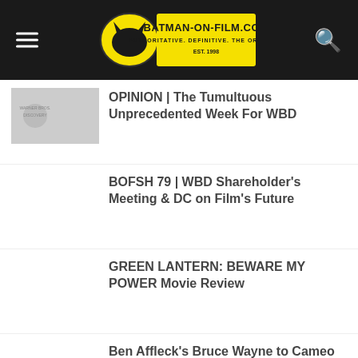BATMAN-ON-FILM.COM — AUTHORITATIVE. DEFINITIVE. THE ORIGINAL. EST. 1998
OPINION | The Tumultuous Unprecedented Week For WBD
BOFSH 79 | WBD Shareholder's Meeting & DC on Film's Future
GREEN LANTERN: BEWARE MY POWER Movie Review
Ben Affleck's Bruce Wayne to Cameo in AQUAMAN 2
WBHE Announced 2023 DC Universe